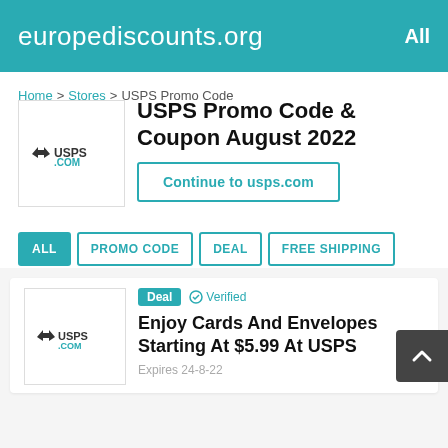europediscounts.org  All
Home > Stores > USPS Promo Code
[Figure (logo): USPS.COM logo in a white bordered box]
USPS Promo Code & Coupon August 2022
Continue to usps.com
ALL  PROMO CODE  DEAL  FREE SHIPPING
[Figure (logo): USPS.COM logo in a white bordered box]
Deal  ✓ Verified
Enjoy Cards And Envelopes Starting At $5.99 At USPS
Expires 24-8-22